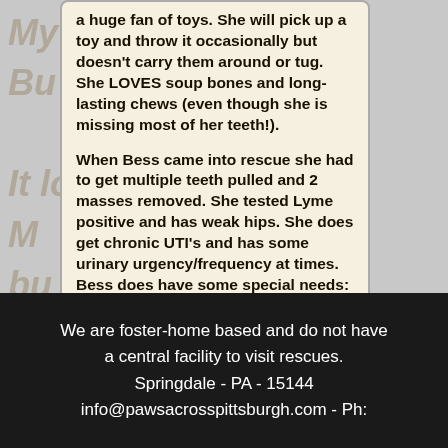a huge fan of toys. She will pick up a toy and throw it occasionally but doesn't carry them around or tug. She LOVES soup bones and long-lasting chews (even though she is missing most of her teeth!).

When Bess came into rescue she had to get multiple teeth pulled and 2 masses removed. She tested Lyme positive and has weak hips. She does get chronic UTI's and has some urinary urgency/frequency at times. Bess does have some special needs: no stairs, intermittently on antibiotics and in diapers due to UTI's. She also receives daily joint supplements and probiotics.
We are foster-home based and do not have a central facility to visit rescues.
Springdale - PA - 15144
info@pawsacrosspittsburgh.com - Ph: